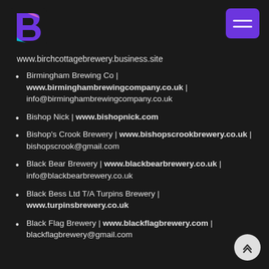[Figure (logo): Stylized letter B logo with purple, pink and cyan colors]
[Figure (other): Purple hamburger menu button with three white horizontal lines]
www.birchcottagebrewery.business.site
Birmingham Brewing Co | www.birminghambrewingcompany.co.uk | info@birminghambrewingcompany.co.uk
Bishop Nick | www.bishopnick.com
Bishop's Crook Brewery | www.bishopscrookbrewery.co.uk | bishopscrook@gmail.com
Black Bear Brewery | www.blackbearbrewery.co.uk | info@blackbearbrewery.co.uk
Black Bess Ltd T/A Turpins Brewery | www.turpinsbrewery.co.uk
Black Flag Brewery | www.blackflagbrewery.com | blackflagbrewery@gmail.com